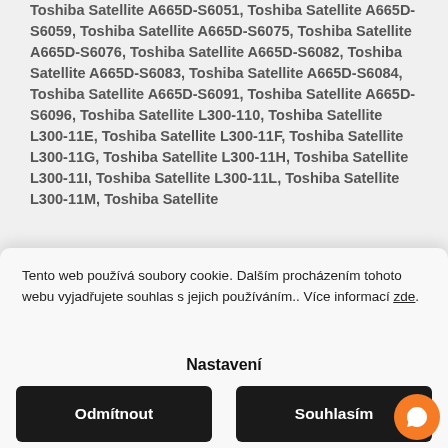Toshiba Satellite A665D-S6051, Toshiba Satellite A665D-S6059, Toshiba Satellite A665D-S6075, Toshiba Satellite A665D-S6076, Toshiba Satellite A665D-S6082, Toshiba Satellite A665D-S6083, Toshiba Satellite A665D-S6084, Toshiba Satellite A665D-S6091, Toshiba Satellite A665D-S6096, Toshiba Satellite L300-110, Toshiba Satellite L300-11E, Toshiba Satellite L300-11F, Toshiba Satellite L300-11G, Toshiba Satellite L300-11H, Toshiba Satellite L300-11I, Toshiba Satellite L300-11L, Toshiba Satellite L300-11M, Toshiba Satellite...
Tento web používá soubory cookie. Dalším procházením tohoto webu vyjadřujete souhlas s jejich používáním.. Více informací zde.
Nastavení
Odmítnout
Souhlasím